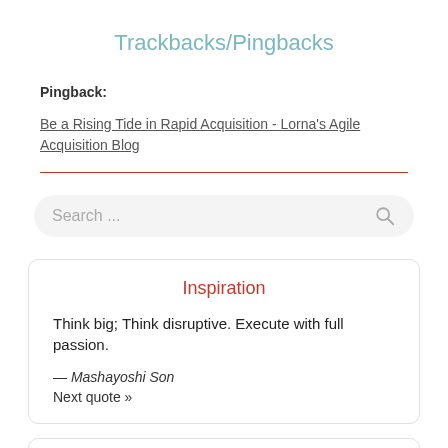Trackbacks/Pingbacks
Pingback:
Be a Rising Tide in Rapid Acquisition - Lorna's Agile Acquisition Blog
Search ...
Inspiration
Think big; Think disruptive. Execute with full passion.
— Mashayoshi Son
Next quote »